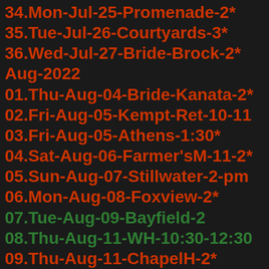34.Mon-Jul-25-Promenade-2*
35.Tue-Jul-26-Courtyards-3*
36.Wed-Jul-27-Bride-Brock-2*
Aug-2022
01.Thu-Aug-04-Bride-Kanata-2*
02.Fri-Aug-05-Kempt-Ret-10-11
03.Fri-Aug-05-Athens-1:30*
04.Sat-Aug-06-Farmer'sM-11-2*
05.Sun-Aug-07-Stillwater-2-pm
06.Mon-Aug-08-Foxview-2*
07.Tue-Aug-09-Bayfield-2
08.Thu-Aug-11-WH-10:30-12:30
09.Thu-Aug-11-ChapelH-2*
10.Fri-Aug-12-Wedge-3-
11.Sat-Aug-13-Jasper-2-*